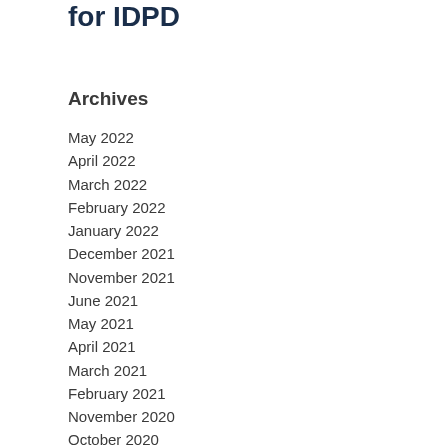for IDPD
Archives
May 2022
April 2022
March 2022
February 2022
January 2022
December 2021
November 2021
June 2021
May 2021
April 2021
March 2021
February 2021
November 2020
October 2020
April 2020
March…